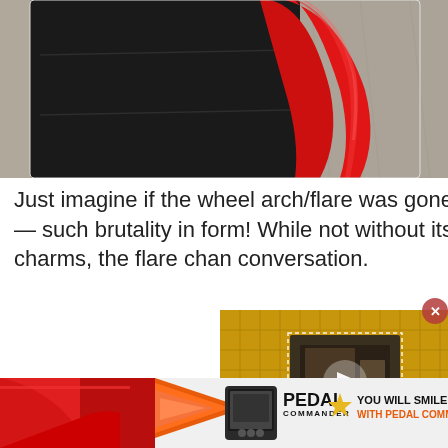[Figure (photo): Close-up photo of a car body panel showing a black section on the left and a shiny red curved fender/wheel arch area on the right, with a concrete wall visible in the background.]
Just imagine if the wheel arch/flare was gone — such brutality in form! While not without its charms, the flare chan conversation.
[Figure (screenshot): Video player overlay with yellow/golden background showing a grid pattern, a play button in the center, AutoGuide logo at bottom left, and a close button in upper right.]
[Figure (photo): Partial photo of a red car body at the bottom left of the page.]
[Figure (other): Advertisement banner for Pedal Commander with orange speed lines graphic, device image, Pedal Commander logo, star icon, and text: YOU WILL SMILE 100% WITH PEDAL COMMANDER]